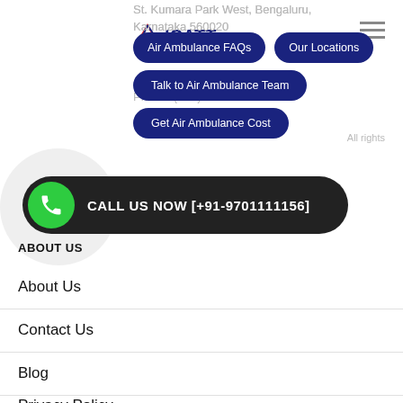ICATT logo and hamburger menu
St. Kumara Park West, Bengaluru, Karnataka 560020
[Figure (screenshot): Navigation buttons: Air Ambulance FAQs, Our Locations, Talk to Air Ambulance Team, Get Air Ambulance Cost]
Phone: (+91) 321 012 3895
All rights
CALL US NOW [+91-9701111156]
ABOUT US
About Us
Contact Us
Blog
Privacy Policy